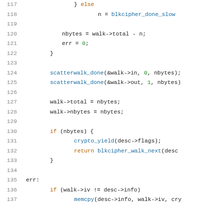[Figure (screenshot): Source code listing showing lines 117-137 of a C file, with syntax highlighting. Line numbers in gray on the left, code in monospace font with keywords in orange/brown, function names in blue, and numeric literals in green.]